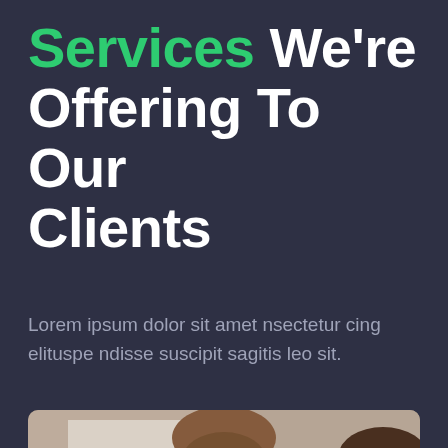Services We're Offering To Our Clients
Lorem ipsum dolor sit amet nsectetur cing elituspe ndisse suscipit sagitis leo sit.
[Figure (photo): Eye exam photo showing a patient having trial frames fitted by an optometrist. An eye chart with letter C and O shapes is visible in the background.]